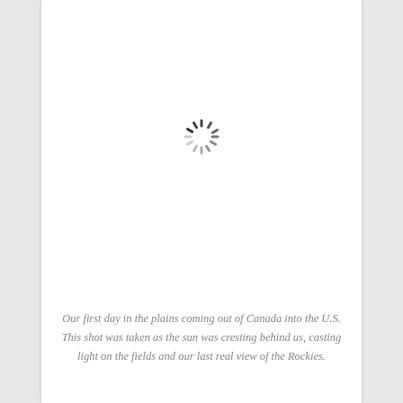[Figure (other): A loading spinner icon (circular dashed wheel) indicating an image that has not yet loaded, centered in the upper portion of the page.]
Our first day in the plains coming out of Canada into the U.S. This shot was taken as the sun was cresting behind us, casting light on the fields and our last real view of the Rockies.